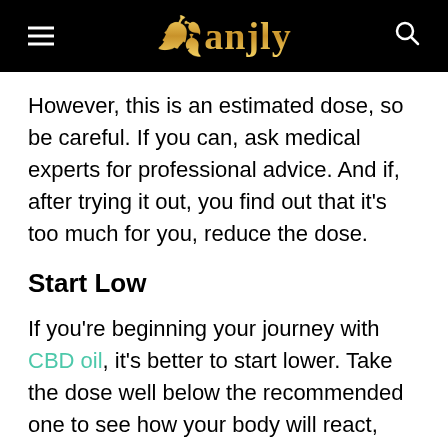Ganjly
However, this is an estimated dose, so be careful. If you can, ask medical experts for professional advice. And if, after trying it out, you find out that it’s too much for you, reduce the dose.
Start Low
If you’re beginning your journey with CBD oil, it’s better to start lower. Take the dose well below the recommended one to see how your body will react, and then just wait until